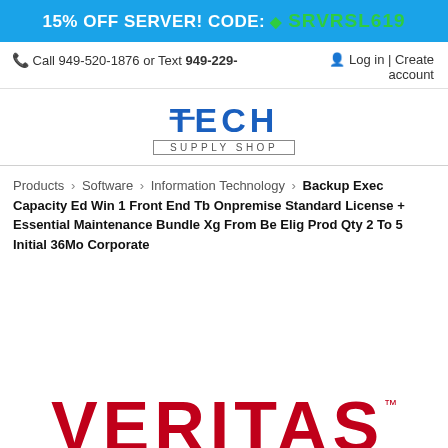15% OFF SERVER! CODE: SRVRSL619
Call 949-520-1876 or Text 949-229-   Log in | Create account
[Figure (logo): Tech Supply Shop logo with blue TECH text and bordered SUPPLY SHOP subtitle]
Products › Software › Information Technology › Backup Exec Capacity Ed Win 1 Front End Tb Onpremise Standard License + Essential Maintenance Bundle Xg From Be Elig Prod Qty 2 To 5 Initial 36Mo Corporate
[Figure (logo): Veritas logo in red at bottom of page, partially cut off]